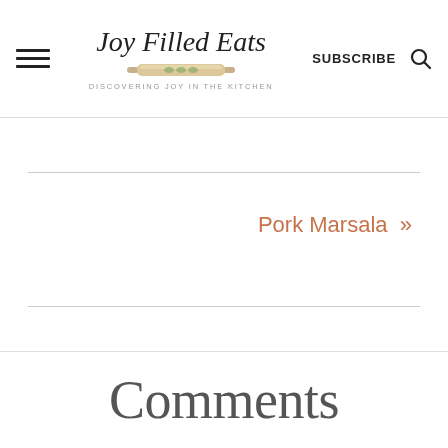Joy Filled Eats — DISCOVERING JOY IN THE KITCHEN — SUBSCRIBE
Pork Marsala »
Comments